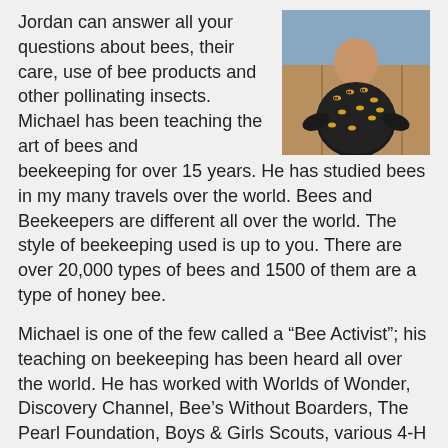Jordan can answer all your questions about bees, their care, use of bee products and other pollinating insects. Michael has been teaching the art of bees and beekeeping for over 15 years. He has studied bees in my many travels over the world. Bees and Beekeepers are different all over the world. The style of beekeeping used is up to you. There are over 20,000 types of bees and 1500 of them are a type of honey bee.
[Figure (photo): Photo of a person wearing a black shirt covered with bees, standing in front of a wooden fence with blue sky visible]
Michael is one of the few called a “Bee Activist”; his teaching on beekeeping has been heard all over the world. He has worked with Worlds of Wonder, Discovery Channel, Bee’s Without Boarders, The Pearl Foundation, Boys & Girls Scouts, various 4-H groups, The Rotary Club, and many youth programs
His absolute passion is teaching the lost art of beekeeping. His travels and stories of how biodynamic